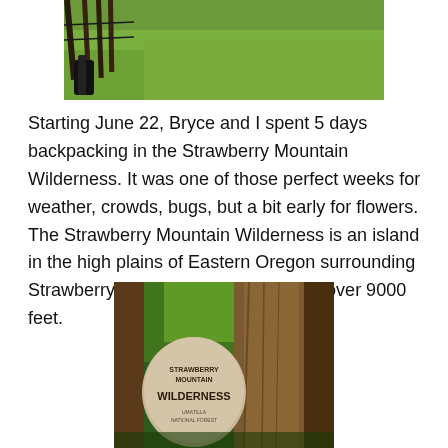[Figure (photo): Outdoor photo showing fence posts and green grassland/meadow, partially cropped at top of page]
Starting June 22, Bryce and I spent 5 days backpacking in the Strawberry Mountain Wilderness. It was one of those perfect weeks for weather, crowds, bugs, but a bit early for flowers. The Strawberry Mountain Wilderness is an island in the high plains of Eastern Oregon surrounding Strawberry Mountain which climbs to over 9000 feet.
[Figure (photo): Photo of a stone wilderness sign carved with 'STRAWBERRY MOUNTAIN WILDERNESS' mounted against a large tree trunk surrounded by conifer forest]